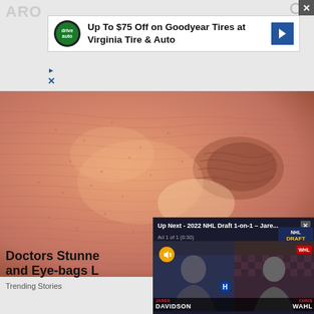ARO
[Figure (screenshot): Advertisement banner for Virginia Tire & Auto showing Goodyear tire discount offer: 'Up To $75 Off on Goodyear Tires at Virginia Tire & Auto' with green auto shop logo and blue arrow icon]
[Figure (photo): Close-up macro photo of human skin showing pores, wrinkles and texture near the eye/nose area, with peachy-pink tones]
[Figure (screenshot): Video player overlay showing 'Up Next - 2022 NHL Draft 1-on-1 - Jare...' with an ad playing (Ad 1 of 1 - 0:30). Shows two people on a split screen: JARED DAVIDSON on left with Montreal Canadiens logo, CHRIS WAHL on right with WHL branding. NHL Draft logo visible top right. Mute button shown. Sponsored by 'INTREWIS'.]
Doctors Stunned by New Wrinkle and Eye-bags L
Trending Stories